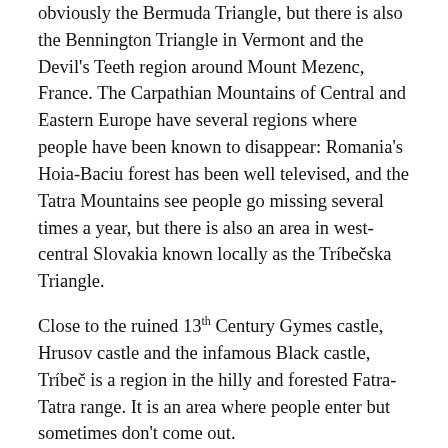obviously the Bermuda Triangle, but there is also the Bennington Triangle in Vermont and the Devil's Teeth region around Mount Mezenc, France. The Carpathian Mountains of Central and Eastern Europe have several regions where people have been known to disappear: Romania's Hoia-Baciu forest has been well televised, and the Tatra Mountains see people go missing several times a year, but there is also an area in west-central Slovakia known locally as the Tríbečska Triangle.
Close to the ruined 13th Century Gymes castle, Hrusov castle and the infamous Black castle, Tríbeč is a region in the hilly and forested Fatra-Tatra range. It is an area where people enter but sometimes don't come out.
47-year old forester Adam Samasly regularly went into the woods to conduct surveys. In the winter of 1929, despite an intense police investigation, he simply vanished.
One year later, in 1930, again in winter, 18 year old Maria Švajzerová was sent by her mother to go from her village to another village close by, bringing food. She disappeared. Again, there was a large manhunt organised by the police but Maria was never found. Very Little Red Riding Hood...